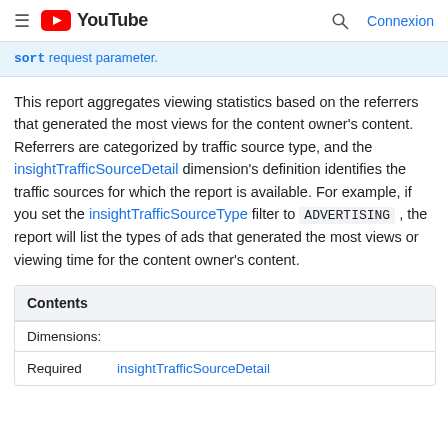≡ YouTube  🔍 Connexion
sort request parameter.
This report aggregates viewing statistics based on the referrers that generated the most views for the content owner's content. Referrers are categorized by traffic source type, and the insightTrafficSourceDetail dimension's definition identifies the traffic sources for which the report is available. For example, if you set the insightTrafficSourceType filter to ADVERTISING , the report will list the types of ads that generated the most views or viewing time for the content owner's content.
| Contents |
| --- |
| Dimensions: |
| Required | insightTrafficSourceDetail |